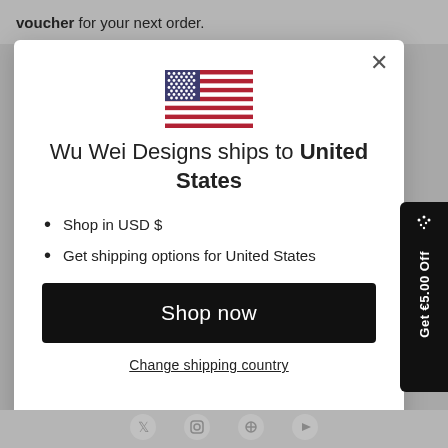voucher for your next order.
[Figure (screenshot): US flag emoji/icon centered in modal]
Wu Wei Designs ships to United States
Shop in USD $
Get shipping options for United States
Shop now
Change shipping country
Get €5.00 Off